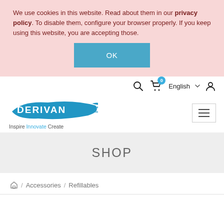We use cookies in this website. Read about them in our privacy policy. To disable them, configure your browser properly. If you keep using this website, you are accepting those.
OK
[Figure (screenshot): Website navigation bar with search icon, cart icon with badge '0', English language selector, and user account icon]
[Figure (logo): Derivan logo with blue paint brush stroke and tagline 'Inspire Innovate Create']
SHOP
/ Accessories / Refillables